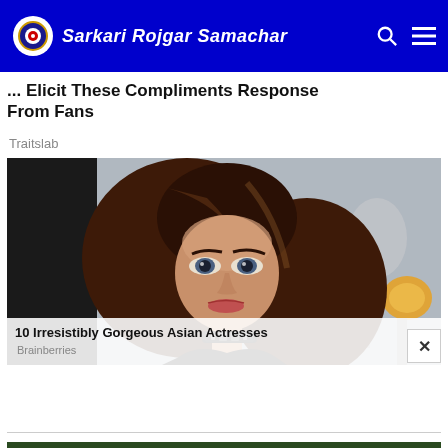Sarkari Rojgar Samachar
... Elicit These Compliments Response From Fans
Traitslab
[Figure (photo): Portrait photo of a beautiful young woman with long brown hair and blue/grey eyes wearing a black choker necklace, with studio lighting in background]
10 Irresistibly Gorgeous Asian Actresses
Brainberries
[Figure (photo): Aerial or landscape image with dark green tones, partially visible at bottom of page]